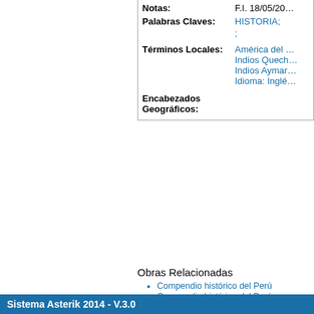| Campo | Valor |
| --- | --- |
| Notas: | F.I. 18/05/20… |
| Palabras Claves: | HISTORIA; |
| Términos Locales: | América del …
Indios Quech…
Indios Aymar…
Idioma: Inglé… |
| Encabezados Geográficos: |  |
Obras Relacionadas
Compendio histórico del Perú
Compendio histórico del Perú
Compendio histórico del Perú
Compendio histórico del Perú
Bolivar, libertador y enemigo nº 1 del Perú
Compendio histórico del Perú
El crimen de Berruecos
Pizarro
De rosa y espinas
Textos texto impreso
Colonialismo en ruinas
La pedagogía del miedo
La realidad nacional
Pachacutec Inca Yupanqui
La república peregrina
Obras del mismo Autor
Sistema Asterik 2014 - V.3.0